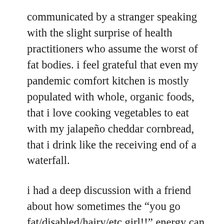communicated by a stranger speaking with the slight surprise of health practitioners who assume the worst of fat bodies. i feel grateful that even my pandemic comfort kitchen is mostly populated with whole, organic foods, that i love cooking vegetables to eat with my jalapeño cheddar cornbread, that i drink like the receiving end of a waterfall.
i had a deep discussion with a friend about how sometimes the “you go fat/disabled/hairy/etc girl!!” energy can feel so inauthentic, tinged with the fear people still have around anything not socialized as normal and desirable. fear almost always shows.